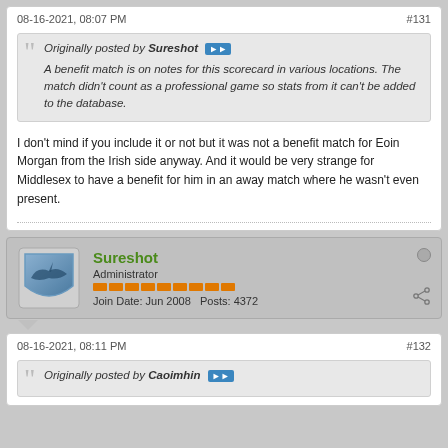08-16-2021, 08:07 PM
#131
Originally posted by Sureshot
A benefit match is on notes for this scorecard in various locations. The match didn't count as a professional game so stats from it can't be added to the database.
I don't mind if you include it or not but it was not a benefit match for Eoin Morgan from the Irish side anyway. And it would be very strange for Middlesex to have a benefit for him in an away match where he wasn't even present.
Sureshot
Administrator
Join Date: Jun 2008   Posts: 4372
08-16-2021, 08:11 PM
#132
Originally posted by Caoimhin